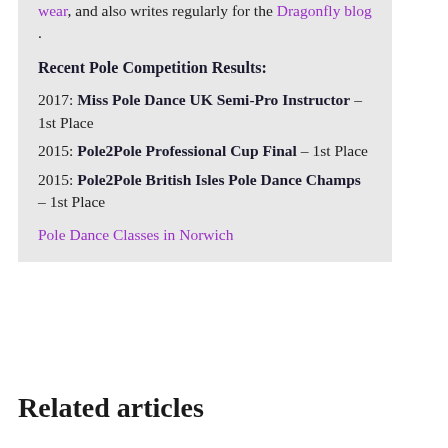wear, and also writes regularly for the Dragonfly blog.
Recent Pole Competition Results:
2017: Miss Pole Dance UK Semi-Pro Instructor – 1st Place
2015: Pole2Pole Professional Cup Final – 1st Place
2015: Pole2Pole British Isles Pole Dance Champs – 1st Place
Pole Dance Classes in Norwich
Related articles